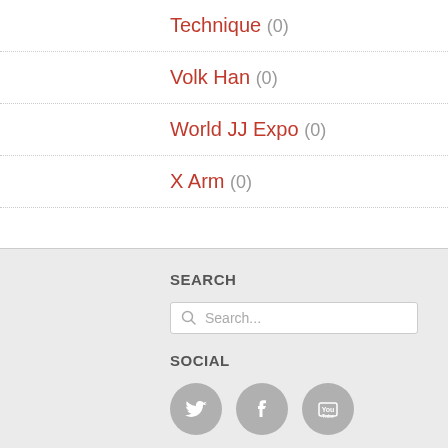Technique (0)
Volk Han (0)
World JJ Expo (0)
X Arm (0)
SEARCH
Search...
SOCIAL
[Figure (illustration): Three social media icons: Twitter bird, Facebook f, YouTube logo — grey circular buttons]
FOOTER